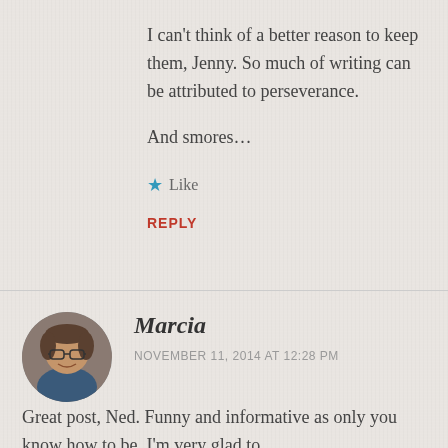I can't think of a better reason to keep them, Jenny. So much of writing can be attributed to perseverance.
And smores…
★ Like
REPLY
[Figure (photo): Circular avatar photo of Marcia, a woman with glasses]
Marcia
NOVEMBER 11, 2014 AT 12:28 PM
Great post, Ned. Funny and informative as only you know how to be. I'm very glad to